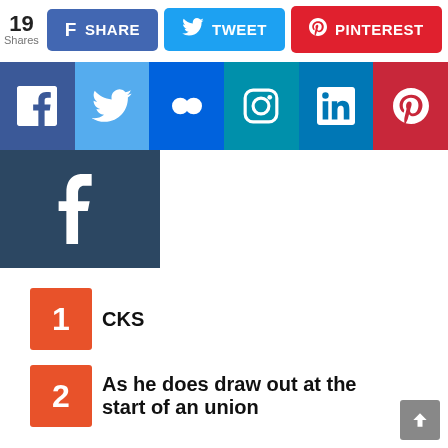[Figure (screenshot): Social media share bar showing 19 Shares with Facebook Share, Tweet, and Pinterest buttons]
[Figure (screenshot): Row of social media icons: Facebook, Twitter, Flickr, Instagram, LinkedIn, Pinterest]
[Figure (screenshot): Tumblr icon square]
1 CKS
2 As he does draw out at the start of an union